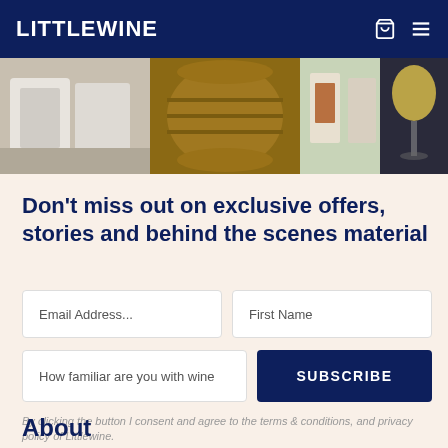LITTLEWINE
[Figure (photo): Hero banner showing wine-related imagery: wine barrels, wine glasses, and people enjoying wine]
Don't miss out on exclusive offers, stories and behind the scenes material
Email Address...
First Name
How familiar are you with wine
SUBSCRIBE
By clicking the button I consent and agree to the terms & conditions, and privacy policy of Littlewine.
About